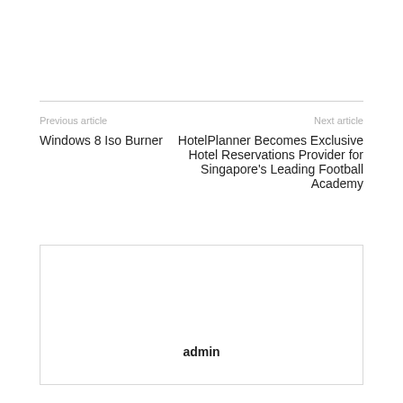Previous article
Next article
Windows 8 Iso Burner
HotelPlanner Becomes Exclusive Hotel Reservations Provider for Singapore's Leading Football Academy
admin